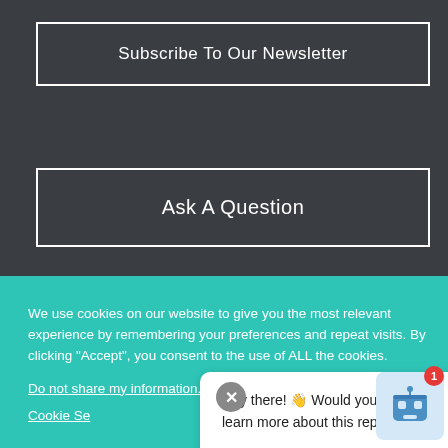Subscribe To Our Newsletter
Ask A Question
We use cookies on our website to give you the most relevant experience by remembering your preferences and repeat visits. By clicking “Accept”, you consent to the use of ALL the cookies.
Do not share my information.
Policy | Kline
Cookie Se...
Hey there! 👋 Would you like to learn more about this report?